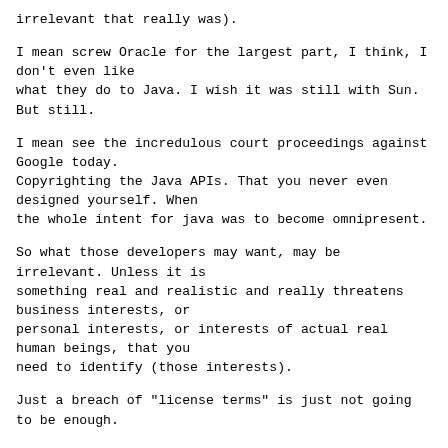irrelevant that really was).
I mean screw Oracle for the largest part, I think, I don't even like
what they do to Java. I wish it was still with Sun. But still.
I mean see the incredulous court proceedings against Google today.
Copyrighting the Java APIs. That you never even designed yourself. When
the whole intent for java was to become omnipresent.
So what those developers may want, may be irrelevant. Unless it is
something real and realistic and really threatens business interests, or
personal interests, or interests of actual real human beings, that you
need to identify (those interests).
Just a breach of "license terms" is just not going to be enough.
Seeing the amount of money he apparently makes ; maybe it is too much ;
but he will be able to defend himself ;-).
You must still describe the outcome you want, but you